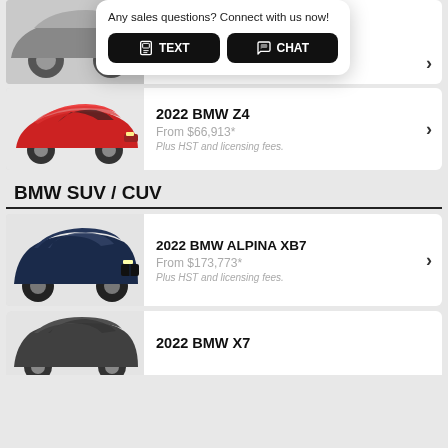[Figure (screenshot): Partial car listing card with popup overlay showing TEXT and CHAT buttons, and 'Plus HST and licensing fees.' text]
Any sales questions? Connect with us now!
TEXT
CHAT
[Figure (photo): 2022 BMW Z4 red convertible car image]
2022 BMW Z4
From $66,913*
Plus HST and licensing fees.
BMW SUV / CUV
[Figure (photo): 2022 BMW ALPINA XB7 dark blue SUV car image]
2022 BMW ALPINA XB7
From $173,773*
Plus HST and licensing fees.
[Figure (photo): 2022 BMW X7 dark grey SUV car image, partially visible]
2022 BMW X7